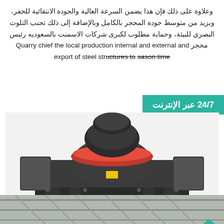وعلاوة على ذلك فإن هذا يضمن السرعة العالية والجودة الانتقائية للحفر، ويزيد من متوسط جودة المحجر بالكامل وبالإضافة إلى ذلك تجنب التلوث البصري للبيئة، وحماية مطلوب لكبرى شركات الاسمنت بالسعوديه رئيس محجر Quarry chief the local production internal and external and export of steel structures to sason time
24/7 عبر الإنترنت
[Figure (photo): Large industrial vertical shaft impact crusher machine, dark metallic gray and red color, photographed from front on white background]
[Figure (photo): Interior ceiling view of an industrial or warehouse structure with metal beams and corrugated roofing panels]